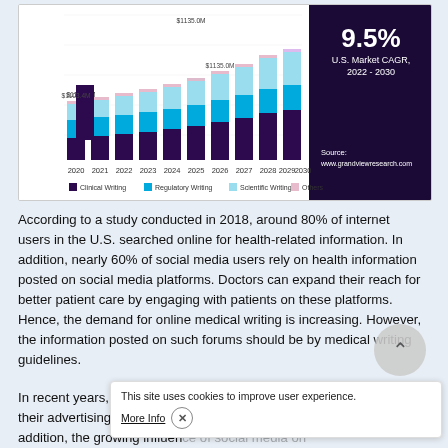[Figure (stacked-bar-chart): U.S. Market CAGR, 2022-2030: 9.5%]
According to a study conducted in 2018, around 80% of internet users in the U.S. searched online for health-related information. In addition, nearly 60% of social media users rely on health information posted on social media platforms. Doctors can expand their reach for better patient care by engaging with patients on these platforms. Hence, the demand for online medical writing is increasing. However, the information posted on such forums should be by medical writing guidelines.
In recent years, pharmaceutical companies have changed their advertising strategies to target digital spaces. In addition, the growing influence of social media on